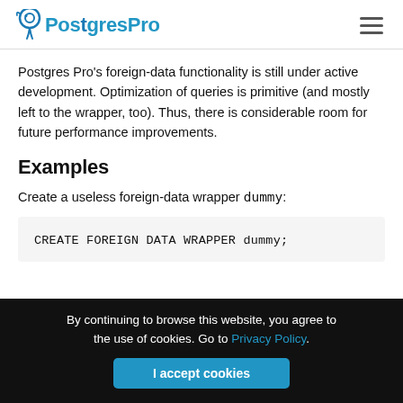PostgresPro
Postgres Pro's foreign-data functionality is still under active development. Optimization of queries is primitive (and mostly left to the wrapper, too). Thus, there is considerable room for future performance improvements.
Examples
Create a useless foreign-data wrapper dummy:
CREATE FOREIGN DATA WRAPPER dummy;
By continuing to browse this website, you agree to the use of cookies. Go to Privacy Policy. I accept cookies